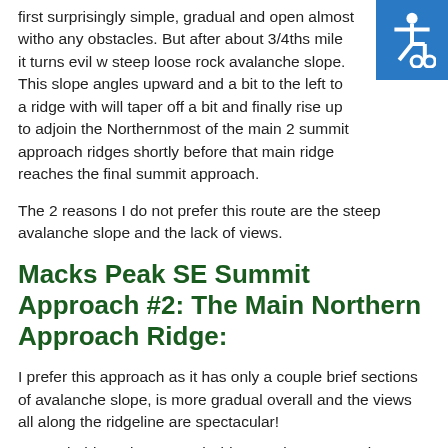first surprisingly simple, gradual and open almost without any obstacles. But after about 3/4ths mile it turns evil w steep loose rock avalanche slope. This slope angles upward and a bit to the left to a ridge with will taper off a bit and finally rise up to adjoin the Northernmost of the main 2 summit approach ridges shortly before that main ridge reaches the final summit approach.
The 2 reasons I do not prefer this route are the steep avalanche slope and the lack of views.
Macks Peak SE Summit Approach #2: The Main Northern Approach Ridge:
I prefer this approach as it has only a couple brief sections of avalanche slope, is more gradual overall and the views all along the ridgeline are spectacular!
To catch this main approach ridge continue on Macks...